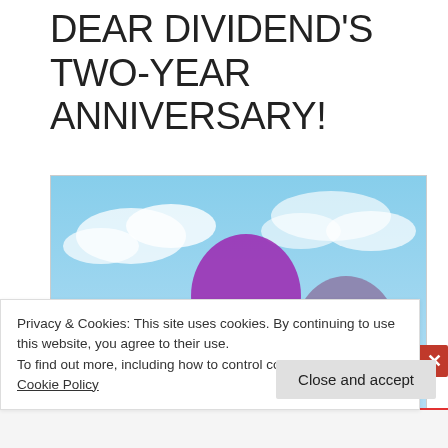DEAR DIVIDEND'S TWO-YEAR ANNIVERSARY!
[Figure (photo): A cluster of colorful balloons (purple, blue, red, teal/cyan, green, yellow, and a darker purple/mauve) floating against a blue sky with white clouds.]
Privacy & Cookies: This site uses cookies. By continuing to use this website, you agree to their use.
To find out more, including how to control cookies, see here: Cookie Policy
Close and accept